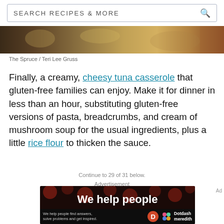SEARCH RECIPES & MORE
[Figure (photo): Photo strip of tuna casserole dish, partial view]
The Spruce / Teri Lee Gruss
Finally, a creamy, cheesy tuna casserole that gluten-free families can enjoy. Make it for dinner in less than an hour, substituting gluten-free versions of pasta, breadcrumbs, and cream of mushroom soup for the usual ingredients, plus a little rice flour to thicken the sauce.
Continue to 29 of 31 below.
Advertisement
[Figure (other): Dotdash Meredith advertisement: We help people find answers, solve problems and get inspired.]